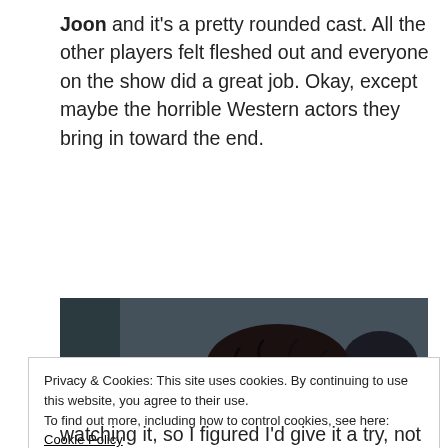Joon and it's a pretty rounded cast. All the other players felt fleshed out and everyone on the show did a great job. Okay, except maybe the horrible Western actors they bring in toward the end.
[Figure (photo): A man with dark tousled hair, wearing a light blue shirt, holds money and raises his hand in what appears to be a scene from a Korean drama (Squid Game). Another person's back is visible in the foreground. Background shows a yellow object and a sign.]
Privacy & Cookies: This site uses cookies. By continuing to use this website, you agree to their use.
To find out more, including how to control cookies, see here: Cookie Policy

Close and accept
watching it, so I figured I'd give it a try, not really